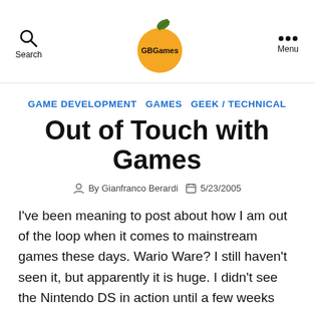Search | GBGames | Menu
GAME DEVELOPMENT   GAMES   GEEK / TECHNICAL
Out of Touch with Games
By Gianfranco Berardi   5/23/2005
I've been meaning to post about how I am out of the loop when it comes to mainstream games these days. Wario Ware? I still haven't seen it, but apparently it is huge. I didn't see the Nintendo DS in action until a few weeks ago. In fact, I haven't